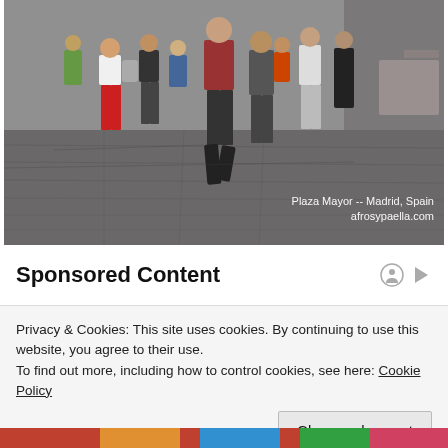[Figure (photo): Crowd of people walking in a cobblestone plaza. Text overlay reads: 'Plaza Mayor -- Madrid, Spain' and 'afrosypaella.com']
Plaza Mayor -- Madrid, Spain
afrosypaella.com
Sponsored Content
Privacy & Cookies: This site uses cookies. By continuing to use this website, you agree to their use.
To find out more, including how to control cookies, see here: Cookie Policy
Close and accept